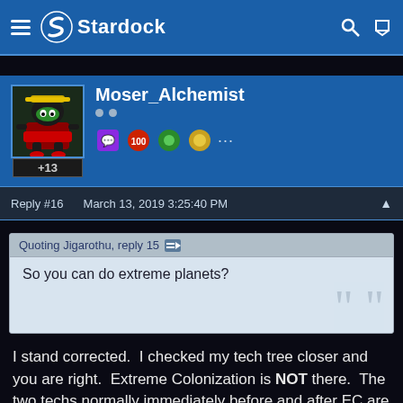Stardock
Moser_Alchemist +13
Reply #16   March 13, 2019 3:25:40 PM
Quoting Jigarothu, reply 15 →
So you can do extreme planets?
I stand corrected.  I checked my tech tree closer and you are right.  Extreme Colonization is NOT there.  The two techs normally immediately before and after EC are directly connected.  In my first game with 3.6, I happened